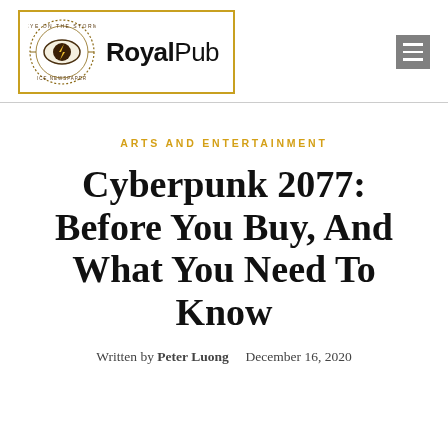[Figure (logo): Eye on the Storm newspaper logo with eye icon and lightning bolt, inside a golden rectangle border, with text 'Royal Pub' to the right]
ARTS AND ENTERTAINMENT
Cyberpunk 2077: Before You Buy, And What You Need To Know
Written by Peter Luong   December 16, 2020